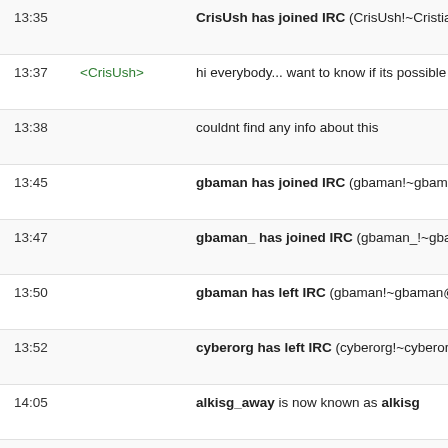13:35 CrisUsh has joined IRC (CrisUsh!~Cristian-@186-129-251-218.stati...
13:37 <CrisUsh> hi everybody... want to know if its possible to mou...
13:38  couldnt find any info about this
13:45 gbaman has joined IRC (gbaman!~gbaman@cpc15-belf9-2-0-cust1...
13:47 gbaman_ has joined IRC (gbaman_!~gbaman@cpc15-belf9-2-0-cus...
13:50 gbaman has left IRC (gbaman!~gbaman@cpc15-belf9-2-0-cust171....
13:52 cyberorg has left IRC (cyberorg!~cyberorg@opensuse/member/Cyb...
14:05 alkisg_away is now known as alkisg
14:06 <alkisg> CrisUsh: thin or fat clients? what file system? do th...
14:06  rw is the default, you have an issue and you get ro...
14:07 gvy has joined IRC (gvy!~mike@altlinux/developer/mike)
14:12 cyberorg has joined IRC (cyberorg!~cyberorg@opensuse/member/C...